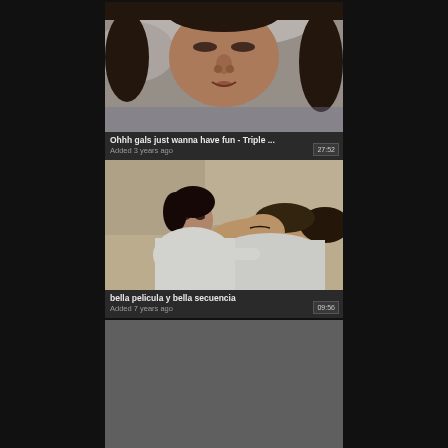[Figure (screenshot): Video thumbnail 1: close-up of a person lying back with eyes closed on white bedding]
Ohhh gals just wanna have fun - Triple ...
Added 3 years ago   27:52
[Figure (screenshot): Video thumbnail 2: two people in white clothing lying together on a bed]
bella pelicula y bella secuencia
Added 7 years ago   09:56